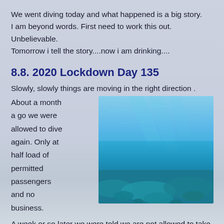We went diving today and what happened is a big story.
I am beyond words. First need to work this out.
Unbelievable.
Tomorrow i tell the story....now i am drinking....
8.8. 2020 Lockdown Day 135
Slowly, slowly things are moving in the right direction .
About a month a go we were allowed to dive again. Only at half load of permitted passengers and no business.
[Figure (photo): Underwater ocean scene showing turquoise blue water with a sandy/coral reef bottom visible below]
A week or so later we were told we are not allowed to take paying